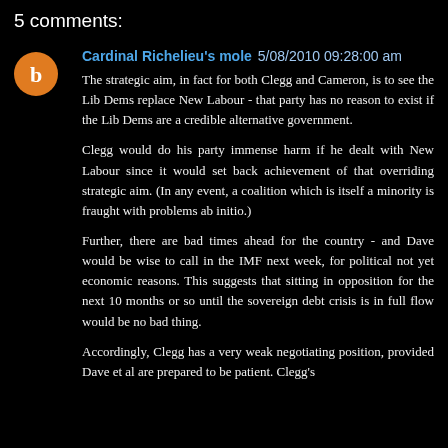5 comments:
Cardinal Richelieu's mole 5/08/2010 09:28:00 am
The strategic aim, in fact for both Clegg and Cameron, is to see the Lib Dems replace New Labour - that party has no reason to exist if the Lib Dems are a credible alternative government.
Clegg would do his party immense harm if he dealt with New Labour since it would set back achievement of that overriding strategic aim. (In any event, a coalition which is itself a minority is fraught with problems ab initio.)
Further, there are bad times ahead for the country - and Dave would be wise to call in the IMF next week, for political not yet economic reasons. This suggests that sitting in opposition for the next 10 months or so until the sovereign debt crisis is in full flow would be no bad thing.
Accordingly, Clegg has a very weak negotiating position, provided Dave et al are prepared to be patient. Clegg's